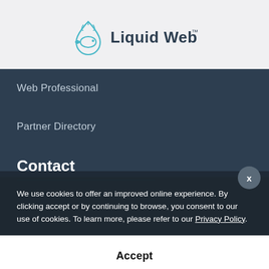[Figure (logo): Liquid Web logo: teal water drop icon with fish silhouette, text 'Liquid Web™' in dark gray]
Web Professional
Partner Directory
Contact
Contact Us
24 Hr Sales Option 1
We use cookies to offer an improved online experience. By clicking accept or by continuing to browse, you consent to our use of cookies. To learn more, please refer to our Privacy Policy.
Accept
0 SHARES